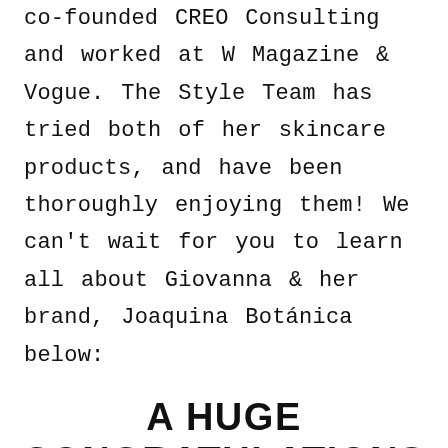co-founded CREO Consulting and worked at W Magazine & Vogue. The Style Team has tried both of her skincare products, and have been thoroughly enjoying them! We can't wait for you to learn all about Giovanna & her brand, Joaquina Botánica below:
A HUGE CONGRATULATIONS ON THE LAUNCH OF YOUR BRAND! WHAT LED YOU TO START